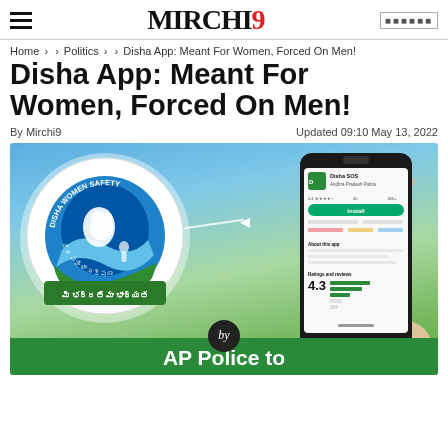MIRCHI9
Home › Politics › Disha App: Meant For Women, Forced On Men!
Disha App: Meant For Women, Forced On Men!
By Mirchi9   Updated 09:10 May 13, 2022
[Figure (photo): Disha Women Safety app logo circle with Telugu text and 'DISHA WOMEN SAFETY' text, alongside a hand holding a smartphone showing the Disha SOS app on Google Play Store with 4.3 rating, and AP Police to banner at bottom]